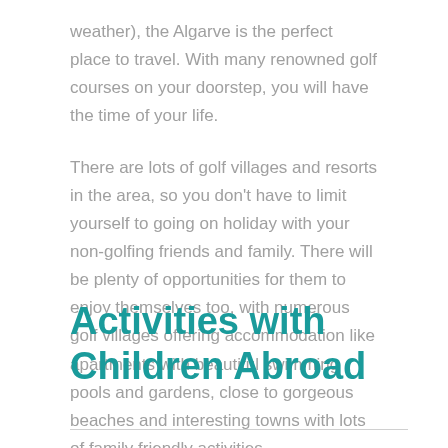weather), the Algarve is the perfect place to travel. With many renowned golf courses on your doorstep, you will have the time of your life.
There are lots of golf villages and resorts in the area, so you don't have to limit yourself to going on holiday with your non-golfing friends and family. There will be plenty of opportunities for them to enjoy themselves too, with numerous golf villages offering accommodation like apartments with beautiful swimming pools and gardens, close to gorgeous beaches and interesting towns with lots of family friendly activities.
Activities with Children Abroad